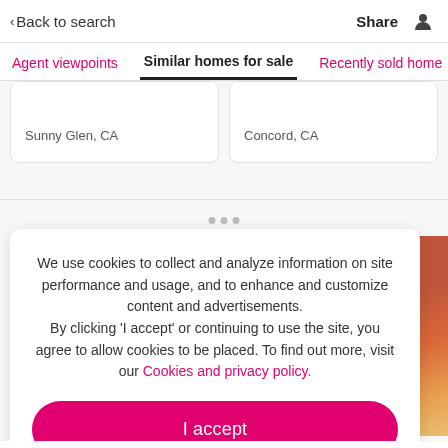Back to search   Share
Agent viewpoints   Similar homes for sale   Recently sold home
Sunny Glen, CA
Concord, CA
We use cookies to collect and analyze information on site performance and usage, and to enhance and customize content and advertisements. By clicking 'I accept' or continuing to use the site, you agree to allow cookies to be placed. To find out more, visit our Cookies and privacy policy.
I accept